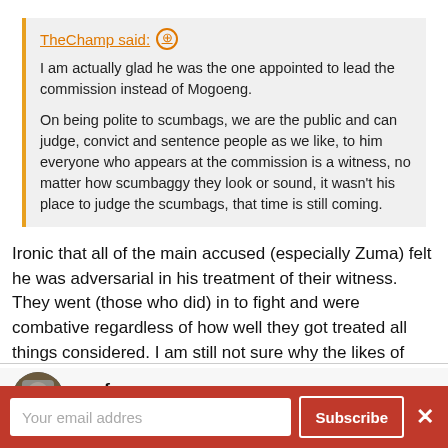TheChamp said: ⊕
I am actually glad he was the one appointed to lead the commission instead of Mogoeng.

On being polite to scumbags, we are the public and can judge, convict and sentence people as we like, to him everyone who appears at the commission is a witness, no matter how scumbaggy they look or sound, it wasn't his place to judge the scumbags, that time is still coming.
Ironic that all of the main accused (especially Zuma) felt he was adversarial in his treatment of their witness. They went (those who did) in to fight and were combative regardless of how well they got treated all things considered. I am still not sure why the likes of Fraser weren't summoned.
surface
Honorary Master
Your email addres
Subscribe